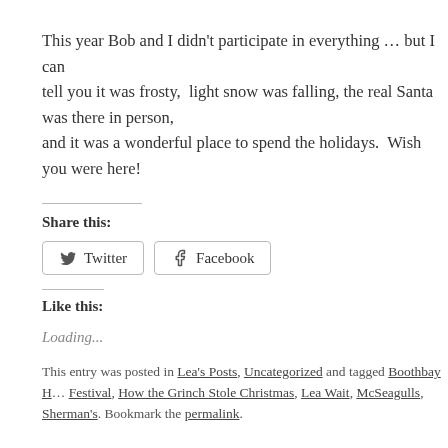This year Bob and I didn't participate in everything … but I can tell you it was frosty,  light snow was falling, the real Santa was there in person, and it was a wonderful place to spend the holidays.  Wish you were here!
Share this:
Twitter  Facebook
Like this:
Loading...
This entry was posted in Lea's Posts, Uncategorized and tagged Boothbay Harbor Winter Festival, How the Grinch Stole Christmas, Lea Wait, McSeagulls, Sherman's. Bookmark the permalink.